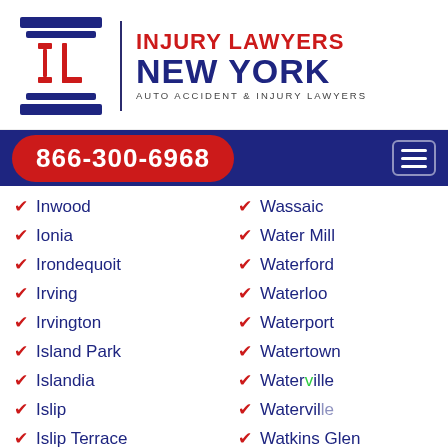[Figure (logo): Injury Lawyers New York logo with IL column icon, red and blue text, subtitle AUTO ACCIDENT & INJURY LAWYERS]
866-300-6968
Inwood
Wassaic
Ionia
Water Mill
Irondequoit
Waterford
Irving
Waterloo
Irvington
Waterport
Island Park
Watertown
Islandia
Waterville (partially obscured)
Islip
Waterville
Islip Terrace
Watkins Glen
Ithaca
Waverly
Jackson Heights
Wawarsing